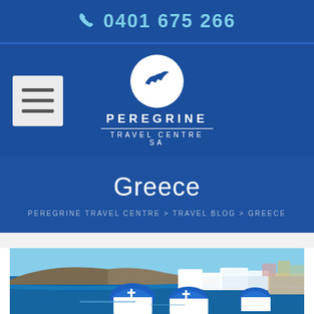0401 675 266
[Figure (logo): Peregrine Travel Centre SA logo with bird/wave icon in white circle on dark blue background, hamburger menu icon on left]
Greece
PEREGRINE TRAVEL CENTRE > TRAVEL BLOG > GREECE
[Figure (photo): Santorini Greece photo showing iconic blue-domed churches and white buildings on cliffside overlooking blue Aegean Sea]